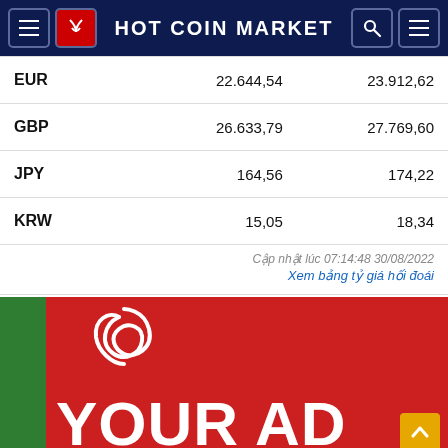HOT COIN MARKET
| Currency | Buy | Sell |
| --- | --- | --- |
| EUR | 22.644,54 | 23.912,62 |
| GBP | 26.633,79 | 27.769,60 |
| JPY | 164,56 | 174,22 |
| KRW | 15,05 | 18,34 |
Cập nhật lúc 07:14:48 30/08/2022
Xem bảng tỷ giá hối đoái
[Figure (photo): Advertisement banner with red background, green left bar, white pretzel/loop graphic, and YOUR AD text in white bold letters]